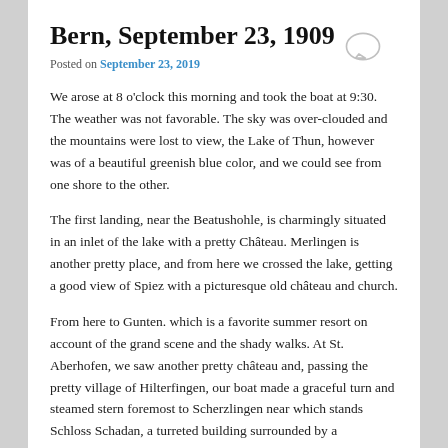Bern, September 23, 1909
Posted on September 23, 2019
We arose at 8 o'clock this morning and took the boat at 9:30. The weather was not favorable. The sky was over-clouded and the mountains were lost to view, the Lake of Thun, however was of a beautiful greenish blue color, and we could see from one shore to the other.
The first landing, near the Beatushohle, is charmingly situated in an inlet of the lake with a pretty Château. Merlingen is another pretty place, and from here we crossed the lake, getting a good view of Spiez with a picturesque old château and church.
From here to Gunten. which is a favorite summer resort on account of the grand scene and the shady walks. At St. Aberhofen, we saw another pretty château and, passing the pretty village of Hilterfingen, our boat made a graceful turn and steamed stern foremost to Scherzlingen near which stands Schloss Schadan, a turreted building surrounded by a